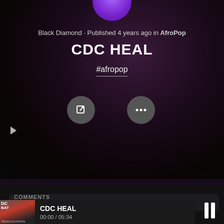[Figure (screenshot): Music streaming app screenshot showing a song detail page for 'CDC HEAL' by Black Diamond, published 4 years ago in AfroPop, with hashtag #afropop, share and more buttons, a side navigation arrow, and a now-playing bar at the bottom showing 00:00 / 05:34 with a pause button. Background is dark with purple gradient.]
Black Diamond • Published 4 years ago in AfroPop
CDC HEAL
#afropop
CDC HEAL
00:00 / 05:34